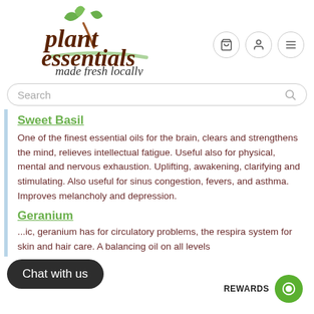[Figure (logo): Plant Essentials logo with green leaves and brown handwritten text reading 'plant essentials made fresh locally']
Sweet Basil
One of the finest essential oils for the brain, clears and strengthens the mind, relieves intellectual fatigue.  Useful also for physical, mental and nervous exhaustion.  Uplifting, awakening, clarifying and stimulating.  Also useful for sinus congestion, fevers, and asthma.  Improves melancholy and depression.
Geranium
...ic, geranium has for circulatory problems, the respira system for skin and hair care.  A balancing oil on all levels